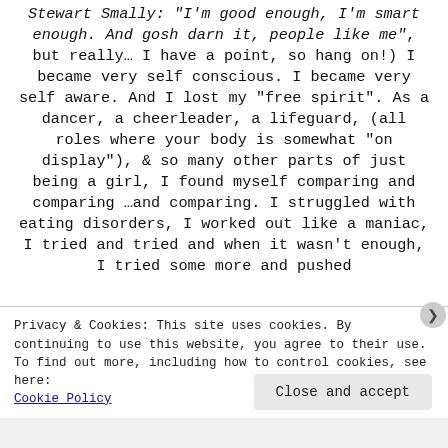Stewart Smally: “I’m good enough, I’m smart enough. And gosh darn it, people like me”, but really… I have a point, so hang on!) I became very self conscious.  I became very self aware.  And I lost my “free spirit”.  As a dancer, a cheerleader, a lifeguard, (all roles where your body is somewhat “on display”), & so many other parts of just being a girl, I found myself comparing and comparing …and comparing. I struggled with eating disorders, I worked out like a maniac, I tried and tried and when it wasn’t enough,  I tried some more and pushed
Privacy & Cookies: This site uses cookies. By continuing to use this website, you agree to their use.
To find out more, including how to control cookies, see here:
Cookie Policy
Close and accept